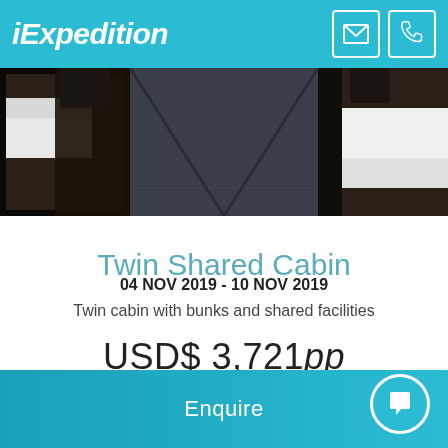iExpedition
[Figure (photo): Interior of a twin shared cabin showing two bunk beds with dark frames and a narrow corridor with blue-grey carpet between them]
Twin Shared Cabin
04 NOV 2019 - 10 NOV 2019
Twin cabin with bunks and shared facilities
USD$ 3,721 pp
Enquire